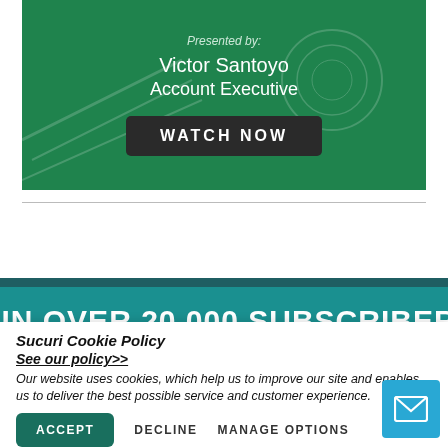[Figure (infographic): Green banner with 'Presented by: Victor Santoyo, Account Executive' and a 'WATCH NOW' dark button on a green background with financial chart graphics]
Presented by:
Victor Santoyo
Account Executive
WATCH NOW
JOIN OVER 20,000 SUBSCRIBERS!
Sucuri Cookie Policy
See our policy>>
Our website uses cookies, which help us to improve our site and enables us to deliver the best possible service and customer experience.
ACCEPT
DECLINE
MANAGE OPTIONS